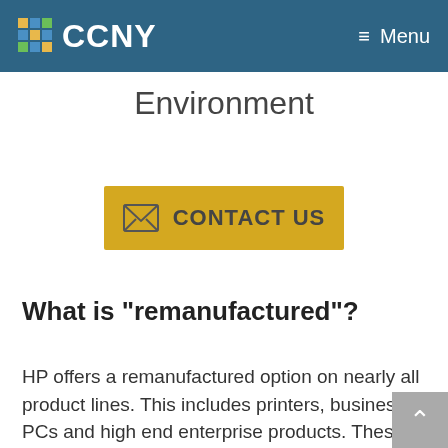CCNY  ≡ Menu
Environment
[Figure (other): Yellow 'CONTACT US' button with envelope icon]
What is "remanufactured"?
HP offers a remanufactured option on nearly all product lines. This includes printers, business PCs and high end enterprise products. These are products that have been returned to HP for a variety of reasons and then put through a rigorous remanufacturing and testing process to bring them